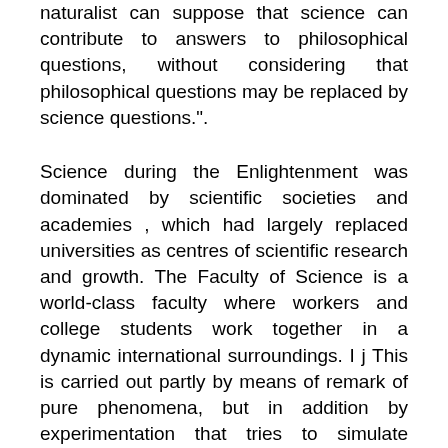naturalist can suppose that science can contribute to answers to philosophical questions, without considering that philosophical questions may be replaced by science questions.".
Science during the Enlightenment was dominated by scientific societies and academies , which had largely replaced universities as centres of scientific research and growth. The Faculty of Science is a world-class faculty where workers and college students work together in a dynamic international surroundings. I j This is carried out partly by means of remark of pure phenomena, but in addition by experimentation that tries to simulate natural events beneath controlled circumstances as acceptable to the discipline (within the observational sciences, reminiscent of astronomy or geology, a predicted observation may